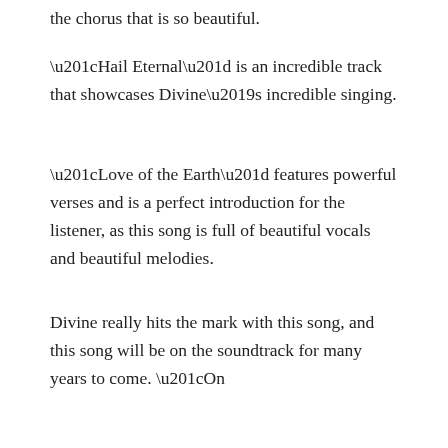the chorus that is so beautiful.
“Hail Eternal” is an incredible track that showcases Divine’s incredible singing.
“Love of the Earth” features powerful verses and is a perfect introduction for the listener, as this song is full of beautiful vocals and beautiful melodies.
Divine really hits the mark with this song, and this song will be on the soundtrack for many years to come. “On
September 11, 2021   admin   study   divine madness, divine mercy novena, mark divine, mujeres divinas lyrics
PREVIOUS
How to use divine sun, celestial moon